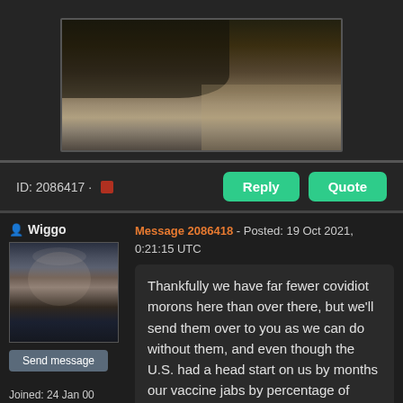[Figure (photo): Partial animal photo (appears to be a bird of prey) shown in a dark framed box at the top of the page]
ID: 2086417 · ▪
Reply
Quote
Wiggo
[Figure (photo): Profile photo of an older man with white beard and beard, wearing dark clothing, seated]
Send message
Joined: 24 Jan 00
Posts: 26983
Credit: 261,360,520
RAC: 489
Message 2086418 - Posted: 19 Oct 2021, 0:21:15 UTC
Thankfully we have far fewer covidiot morons here than over there, but we'll send them over to you as we can do without them, and even though the U.S. had a head start on us by months our vaccine jabs by percentage of population here have passed the U.S. already.

BTW, only little Donny that I know of